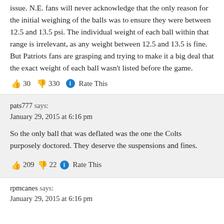issue. N.E. fans will never acknowledge that the only reason for the initial weighing of the balls was to ensure they were between 12.5 and 13.5 psi. The individual weight of each ball within that range is irrelevant, as any weight between 12.5 and 13.5 is fine. But Patriots fans are grasping and trying to make it a big deal that the exact weight of each ball wasn't listed before the game.
👍 30 👎 330 ℹ Rate This
pats777 says:
January 29, 2015 at 6:16 pm
So the only ball that was deflated was the one the Colts purposely doctored. They deserve the suspensions and fines.
👍 209 👎 22 ℹ Rate This
rpmcanes says:
January 29, 2015 at 6:16 pm